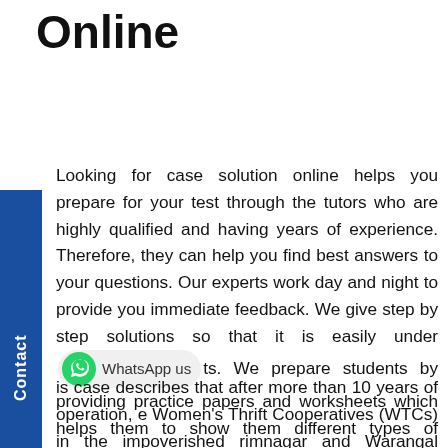Online
Looking for case solution online helps you prepare for your test through the tutors who are highly qualified and having years of experience. Therefore, they can help you find best answers to your questions. Our experts work day and night to provide you immediate feedback. We give step by step solutions so that it is easily understandable to students. We prepare students by providing practice papers and worksheets which helps them to show them different types of question they can face in their exams. We charge you the most reasonable prices. As we care for students coming from all the levels of income. We aim to connect people living in remote areas. Therefore, we charge affordable prices as compared to other online services.
This case describes that after more than 10 years of operation, the Women's Thrift Cooperatives (WTCs) in the impoverished Karimnagar and Warangal districts of Andhra Pradesh are an established part of the lives of the town women who come to...